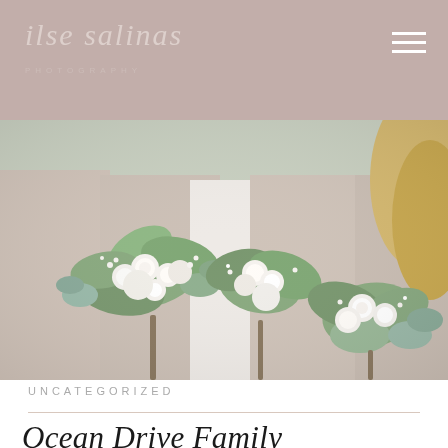ilse salinas PHOTOGRAPHY
[Figure (photo): Close-up photo of bridesmaids holding white and green floral bouquets with eucalyptus, wearing light taupe/blush dresses]
UNCATEGORIZED
Ocean Drive Family